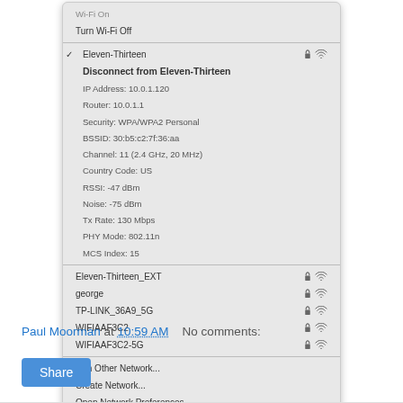[Figure (screenshot): macOS Wi-Fi dropdown menu showing connected network Eleven-Thirteen with IP address 10.0.1.120, router 10.0.1.1, security WPA/WPA2 Personal, BSSID 30:b5:c2:7f:36:aa, channel 11 (2.4 GHz, 20 MHz), country code US, RSSI -47 dBm, noise -75 dBm, Tx rate 130 Mbps, PHY mode 802.11n, MCS index 15. Other visible networks: Eleven-Thirteen_EXT, george, TP-LINK_36A9_5G, WIFIAAF3C2, WIFIAAF3C2-5G. Bottom options: Join Other Network..., Create Network..., Open Network Preferences...]
Paul Moorman at 10:59 AM    No comments:
Share